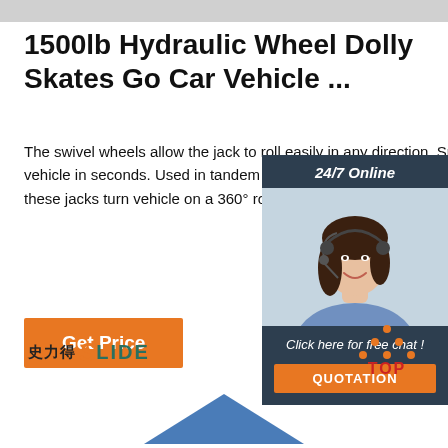1500lb Hydraulic Wheel Dolly Skates Go Car Vehicle ...
The swivel wheels allow the jack to roll easily in any direction. Smoothly raises or lowers the vehicle in seconds. Used in tandem as a pair this jack with 180° pivot, used as a set of four these jacks turn vehicle on a 360° rolling platform.
[Figure (illustration): Orange 'Get Price' button]
[Figure (photo): 24/7 Online chat panel with photo of woman wearing headset, 'Click here for free chat!' text, and orange QUOTATION button]
[Figure (logo): SLIDE logo with Chinese characters 史力得 and stylized S in orange, LIDE in teal]
[Figure (illustration): TOP button with orange dots arranged as triangle above red TOP text]
[Figure (illustration): Partial blue triangle shape at bottom of page]